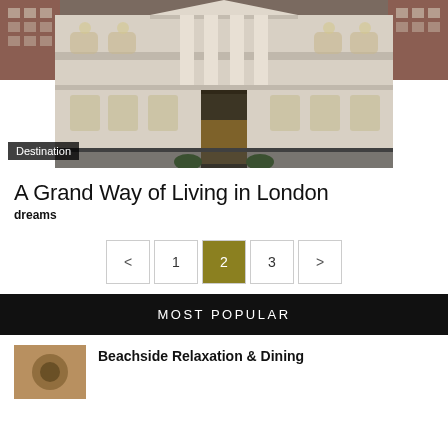[Figure (photo): Exterior photograph of a grand neoclassical building in London, showing white stone facade with columns and arched windows]
Destination
A Grand Way of Living in London
dreams
< 1 2 3 >
MOST POPULAR
Beachside Relaxation & Dining